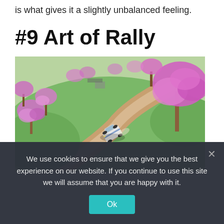is what gives it a slightly unbalanced feeling.
#9 Art of Rally
[Figure (photo): Screenshot from Art of Rally video game showing a white rally car drifting on a dirt road surrounded by cherry blossom trees with pink flowers and green landscape, viewed from an isometric/bird's-eye perspective.]
We use cookies to ensure that we give you the best experience on our website. If you continue to use this site we will assume that you are happy with it.